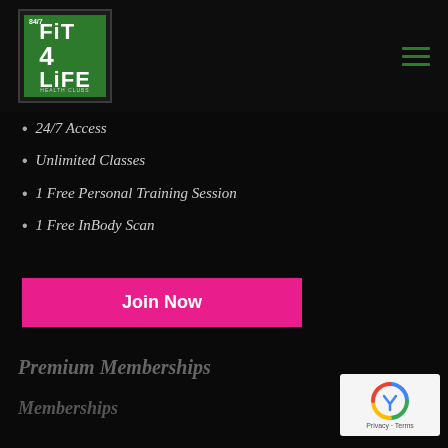FIT4LIFE 24/7 Health Clubs logo and navigation
24/7 Access
Unlimited Classes
1 Free Personal Training Session
1 Free InBody Scan
Join Now
Premium Memberships
Memberships
[Figure (logo): reCAPTCHA privacy badge]